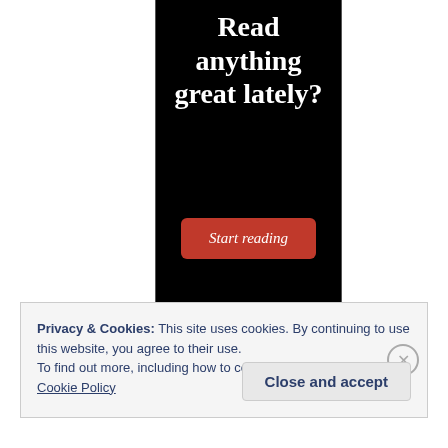[Figure (other): Advertisement banner with black background. Large white serif text reads 'Read anything great lately?' with a red 'Start reading' button below.]
Privacy & Cookies: This site uses cookies. By continuing to use this website, you agree to their use.
To find out more, including how to control cookies, see here:
Cookie Policy
Close and accept